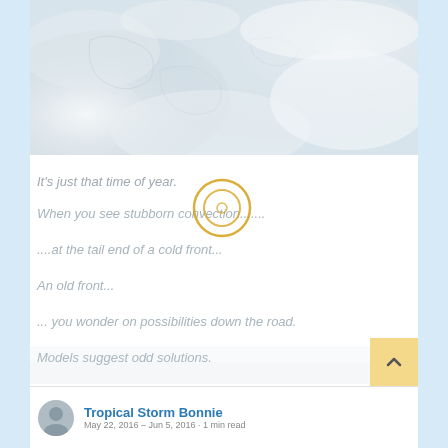[Figure (map): Satellite or weather map image showing cloud cover over a geographic region, light gray/white tones with faint country outlines visible]
It's just that time of year.
When you see stubborn convection.......
....at the tail end of a cold front...
An old front...
... you wonder on possibilities down the road.
Models suggest odd solutions.
[Figure (other): Small circular icon (target/eye symbol) in gold/yellow outline, overlaid on the page]
Tropical Storm Bonnie
May 22, 2016 – Jun 5, 2016 · 1 min read